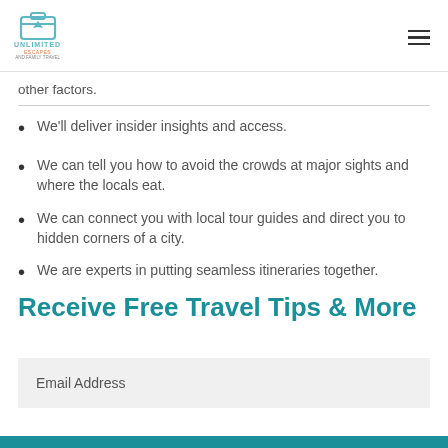Unlimited Escapes and Travel
other factors.
We'll deliver insider insights and access.
We can tell you how to avoid the crowds at major sights and where the locals eat.
We can connect you with local tour guides and direct you to hidden corners of a city.
We are experts in putting seamless itineraries together.
Receive Free Travel Tips & More
Email Address